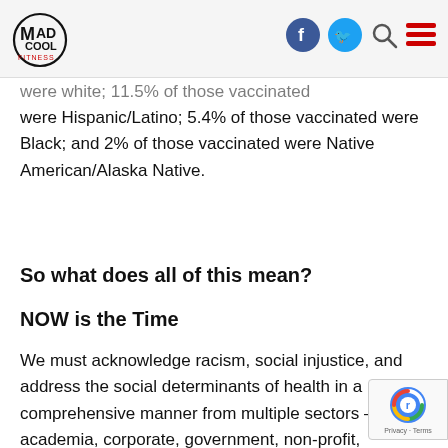[Figure (logo): Mad Cool Fitness logo with circular design and social media navigation icons (Facebook, Twitter, search, hamburger menu)]
were white; 11.5% of those vaccinated were Hispanic/Latino; 5.4% of those vaccinated were Black; and 2% of those vaccinated were Native American/Alaska Native.
So what does all of this mean?
NOW is the Time
We must acknowledge racism, social injustice, and address the social determinants of health in a comprehensive manner from multiple sectors – academia, corporate, government, non-profit, community-based organizations –